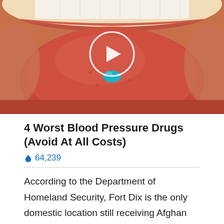[Figure (photo): Close-up photo of a person's open mouth with tongue extended, a small teal/blue pill resting on the tongue, with a circular play button overlay in the center of the image]
4 Worst Blood Pressure Drugs (Avoid At All Costs)
🔥 64,239
According to the Department of Homeland Security, Fort Dix is the only domestic location still receiving Afghan refugees. Because of its capacity and closeness to Philadelphia, it is likely to be one of the last refugee camps to